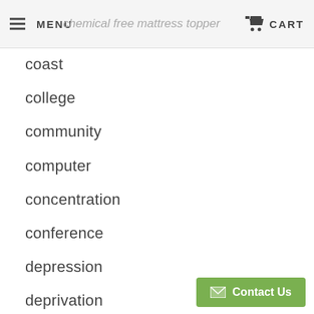MENU  [search: chemical free mattress topper]  CART
coast
college
community
computer
concentration
conference
depression
deprivation
diabetes
distraction
donate
dorm
dorm bed
dorm mattress